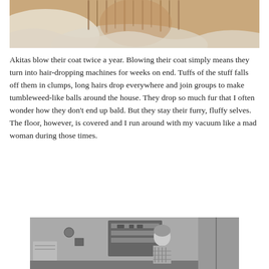[Figure (photo): Close-up photo of a fluffy dog (Akita) partially wrapped in a white blanket or towel, showing brown/tan fur. The photo is cropped at the top.]
Akitas blow their coat twice a year. Blowing their coat simply means they turn into hair-dropping machines for weeks on end. Tuffs of the stuff falls off them in clumps, long hairs drop everywhere and join groups to make tumbleweed-like balls around the house. They drop so much fur that I often wonder how they don't end up bald. But they stay their furry, fluffy selves. The floor, however, is covered and I run around with my vacuum like a mad woman during those times.
[Figure (photo): Black and white photo of a classic TV scene, appearing to be from an old sitcom (possibly I Love Lucy), showing a woman in a living room setting with shelves and curtains visible.]